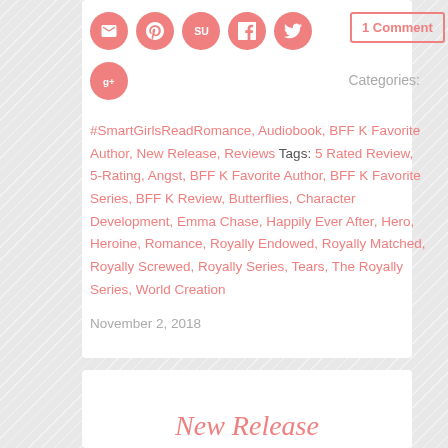[Figure (illustration): Row of 5 social media icon circles (email, Pinterest, StumbleUpon, Facebook, Twitter) in salmon/coral pink, and a Google+ circle below]
1 Comment
Categories:
#SmartGirlsReadRomance, Audiobook, BFF K Favorite Author, New Release, Reviews Tags: 5 Rated Review, 5-Rating, Angst, BFF K Favorite Author, BFF K Favorite Series, BFF K Review, Butterflies, Character Development, Emma Chase, Happily Ever After, Hero, Heroine, Romance, Royally Endowed, Royally Matched, Royally Screwed, Royally Series, Tears, The Royally Series, World Creation
November 2, 2018
New Release